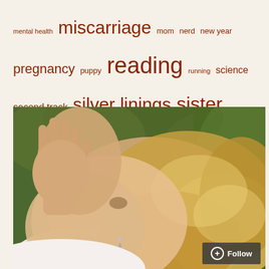mental health miscarriage mom nerd new year pregnancy puppy reading running science second track silver linings sister spirituality surgery tapestry time Wisconsin women words work
[Figure (photo): Close-up photo of a woman with curly blonde hair looking up or to the side, with a hand raised near her face, outdoors with green foliage in the background. A small drop earring is visible.]